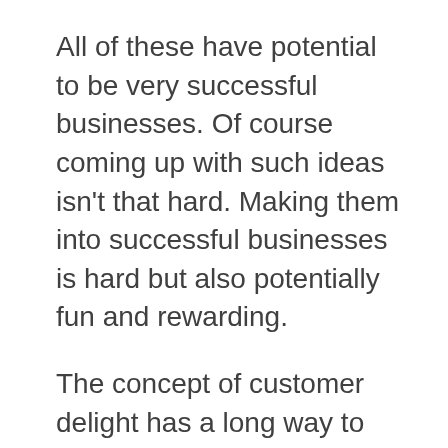All of these have potential to be very successful businesses. Of course coming up with such ideas isn't that hard. Making them into successful businesses is hard but also potentially fun and rewarding.
The concept of customer delight has a long way to go in Malaysia. Even just customer service is poor in general (as is customer service in the USA, they are poor in different ways but both countries have a long way to go in how they treat customers – it seems to me Japan is maybe the only country that doesn't have a long